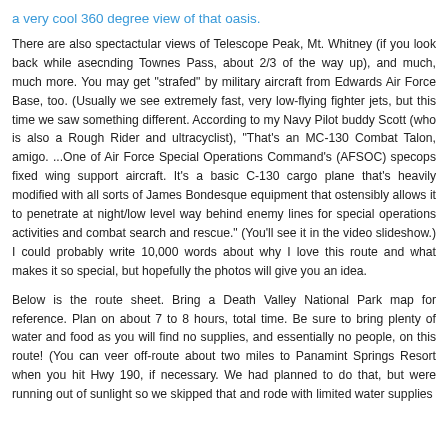a very cool 360 degree view of that oasis.
There are also spectactular views of Telescope Peak, Mt. Whitney (if you look back while asecnding Townes Pass, about 2/3 of the way up), and much, much more. You may get "strafed" by military aircraft from Edwards Air Force Base, too. (Usually we see extremely fast, very low-flying fighter jets, but this time we saw something different. According to my Navy Pilot buddy Scott (who is also a Rough Rider and ultracyclist), "That's an MC-130 Combat Talon, amigo. ...One of Air Force Special Operations Command's (AFSOC) specops fixed wing support aircraft. It's a basic C-130 cargo plane that's heavily modified with all sorts of James Bondesque equipment that ostensibly allows it to penetrate at night/low level way behind enemy lines for special operations activities and combat search and rescue." (You'll see it in the video slideshow.) I could probably write 10,000 words about why I love this route and what makes it so special, but hopefully the photos will give you an idea.
Below is the route sheet. Bring a Death Valley National Park map for reference. Plan on about 7 to 8 hours, total time. Be sure to bring plenty of water and food as you will find no supplies, and essentially no people, on this route! (You can veer off-route about two miles to Panamint Springs Resort when you hit Hwy 190, if necessary. We had planned to do that, but were running out of sunlight so we skipped that and rode with limited water supplies